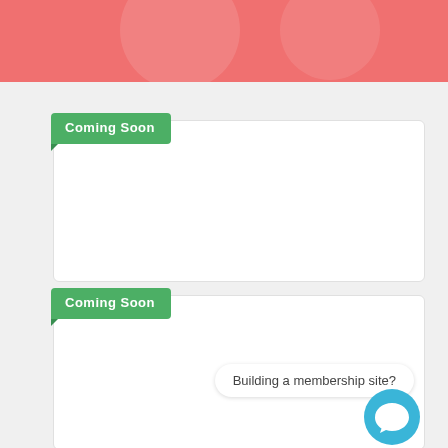[Figure (illustration): Pink banner with faint decorative circles at the top of the page]
Coming Soon
[Figure (illustration): White card with rounded corners, empty content area]
Coming Soon
[Figure (illustration): White card with rounded corners and a chat bubble saying 'Building a membership site?' and a blue chat icon button]
Building a membership site?